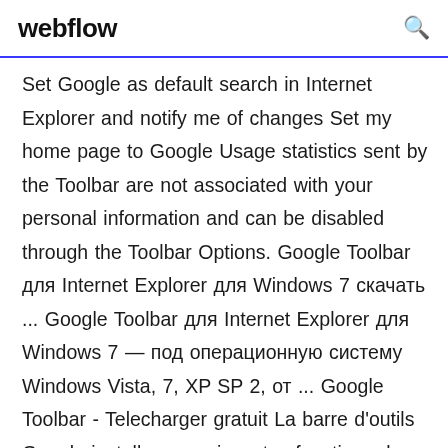webflow
Set Google as default search in Internet Explorer and notify me of changes Set my home page to Google Usage statistics sent by the Toolbar are not associated with your personal information and can be disabled through the Toolbar Options. Google Toolbar для Internet Explorer для Windows 7 скачать ... Google Toolbar для Internet Explorer для Windows 7 — под операционную систему Windows Vista, 7, XP SP 2, от ... Google Toolbar - Telecharger gratuit La barre d'outils Google installe ses puissantes fonctions de recherche sur Internet Explorer. Très pratique pour les recherches rapides sur le moteur le plus complet et le plus utilisé du monde. Le